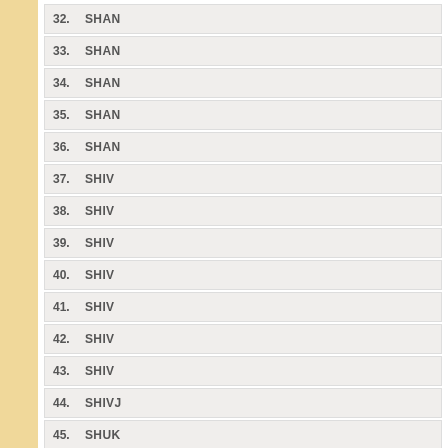32. SHAN...
33. SHAN...
34. SHAN...
35. SHAN...
36. SHAN...
37. SHIV...
38. SHIV...
39. SHIV...
40. SHIV...
41. SHIV...
42. SHIV...
43. SHIV...
44. SHIVJ...
45. SHUK...
46. SUBA...